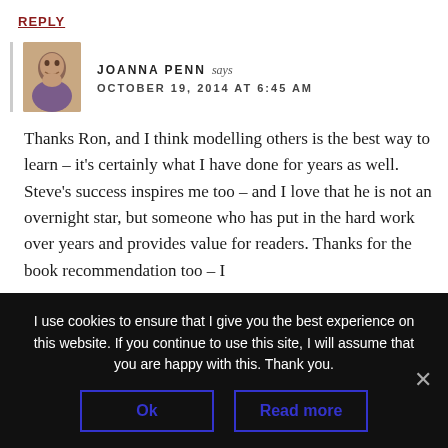REPLY
JOANNA PENN says
OCTOBER 19, 2014 AT 6:45 AM
Thanks Ron, and I think modelling others is the best way to learn – it's certainly what I have done for years as well. Steve's success inspires me too – and I love that he is not an overnight star, but someone who has put in the hard work over years and provides value for readers. Thanks for the book recommendation too – I
I use cookies to ensure that I give you the best experience on this website. If you continue to use this site, I will assume that you are happy with this. Thank you.